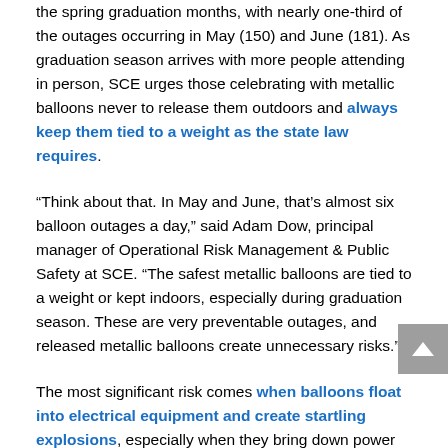the spring graduation months, with nearly one-third of the outages occurring in May (150) and June (181). As graduation season arrives with more people attending in person, SCE urges those celebrating with metallic balloons never to release them outdoors and always keep them tied to a weight as the state law requires.
“Think about that. In May and June, that’s almost six balloon outages a day,” said Adam Dow, principal manager of Operational Risk Management & Public Safety at SCE. “The safest metallic balloons are tied to a weight or kept indoors, especially during graduation season. These are very preventable outages, and released metallic balloons create unnecessary risks.”
The most significant risk comes when balloons float into electrical equipment and create startling explosions, especially when they bring down power lines